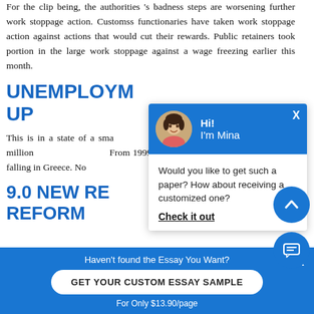For the clip being, the authorities 's badness steps are worsening further work stoppage action. Customss functionaries have taken work stoppage action against actions that would cut their rewards. Public retainers took portion in the large work stoppage against a wage freezing earlier this month.
UNEMPLOYMENT UP
This is in a state of a sma... be like holding 3 million... From 1999 through to 2... been falling in Greece. No...
9.0 NEW REGULATIONS REFORM
[Figure (screenshot): Chat widget overlay showing avatar of Mina with greeting 'Hi! I'm Mina' and message 'Would you like to get such a paper? How about receiving a customized one?' with 'Check it out' link]
Haven't found the Essay You Want?
GET YOUR CUSTOM ESSAY SAMPLE
For Only $13.90/page